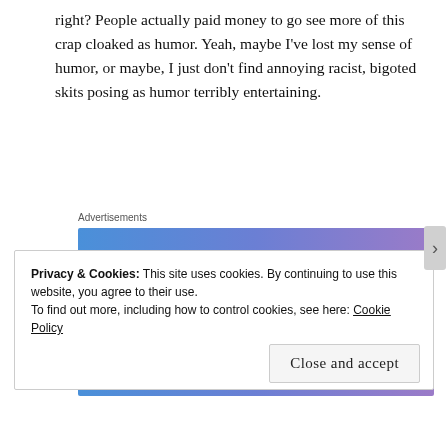right? People actually paid money to go see more of this crap cloaked as humor. Yeah, maybe I've lost my sense of humor, or maybe, I just don't find annoying racist, bigoted skits posing as humor terribly entertaining.
Advertisements
[Figure (infographic): Advertisement banner with blue-to-purple gradient background showing text 'Simplified pricing for everything you need.' and a pink 'Build Your Website' button, with a key tag image on the right.]
Privacy & Cookies: This site uses cookies. By continuing to use this website, you agree to their use.
To find out more, including how to control cookies, see here: Cookie Policy